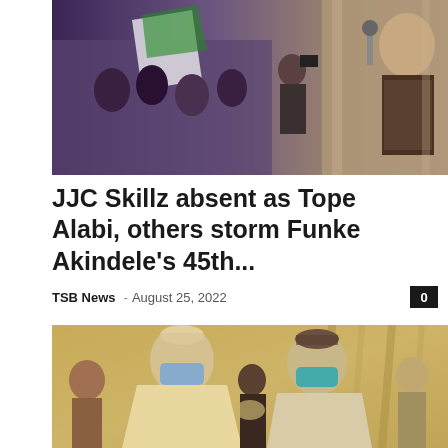[Figure (photo): Photo of people at a party/event with flags and a woman singing into a microphone on the right]
JJC Skillz absent as Tope Alabi, others storm Funke Akindele's 45th...
TSB News – August 25, 2022
[Figure (photo): Two men in traditional Nigerian attire wearing face masks shaking hands at a gathering]